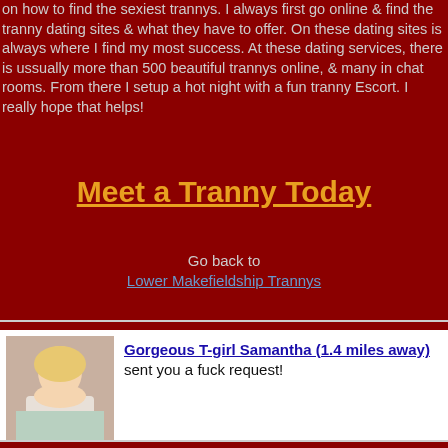on how to find the sexiest trannys. I always first go online & find the tranny dating sites & what they have to offer. On these dating sites is always where I find my most success. At these dating services, there is ussually more than 500 beautiful trannys online, & many in chat rooms. From there I setup a hot night with a fun tranny Escort. I really hope that helps!
Meet a Tranny Today
Go back to
Lower Makefieldship Trannys
[Figure (photo): Photo of a blonde woman]
Gorgeous T-girl Samantha (1.4 miles away) sent you a fuck request!